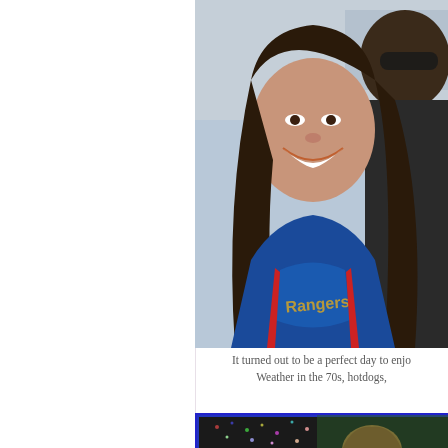[Figure (photo): Two people taking a selfie at a baseball game. A woman wearing a Texas Rangers blue jersey is smiling widely. Another person beside her wears sunglasses. Sunny outdoor setting.]
It turned out to be a perfect day to enjo... Weather in the 70s, hotdogs,
[Figure (photo): Partial photo showing a person with reddish-blonde hair at what appears to be a baseball stadium, with a glittery or sparkly surface visible.]